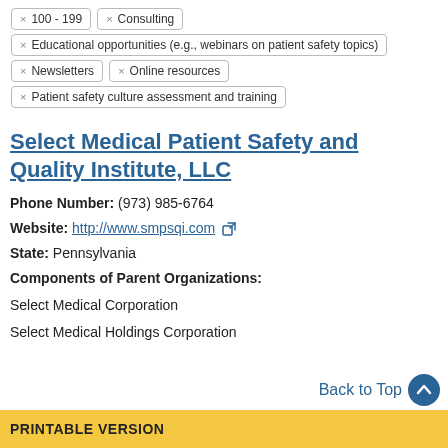100 - 199
Consulting
Educational opportunities (e.g., webinars on patient safety topics)
Newsletters
Online resources
Patient safety culture assessment and training
Select Medical Patient Safety and Quality Institute, LLC
Phone Number: (973) 985-6764
Website: http://www.smpsqi.com
State: Pennsylvania
Components of Parent Organizations:
Select Medical Corporation
Select Medical Holdings Corporation
Back to Top
PRINTABLE VERSION